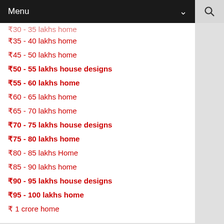Menu
₹35 - 40 lakhs home
₹45 - 50 lakhs home
₹50 - 55 lakhs house designs
₹55 - 60 lakhs home
₹60 - 65 lakhs home
₹65 - 70 lakhs home
₹70 - 75 lakhs house designs
₹75 - 80 lakhs home
₹80 - 85 lakhs Home
₹85 - 90 lakhs home
₹90 - 95 lakhs house designs
₹95 - 100 lakhs home
₹ 1 crore home